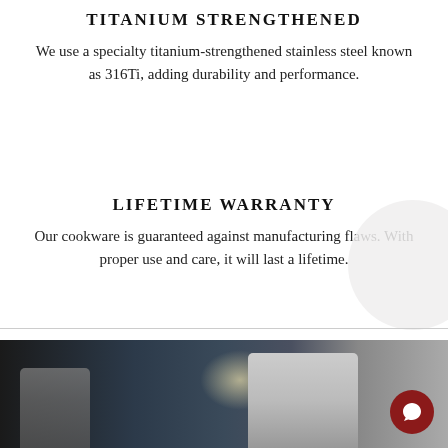TITANIUM STRENGTHENED
We use a specialty titanium-strengthened stainless steel known as 316Ti, adding durability and performance.
LIFETIME WARRANTY
Our cookware is guaranteed against manufacturing flaws. With proper use and care, it will last a lifetime.
[Figure (photo): A worker in an industrial/manufacturing setting holding a tool, with another person visible in the background]